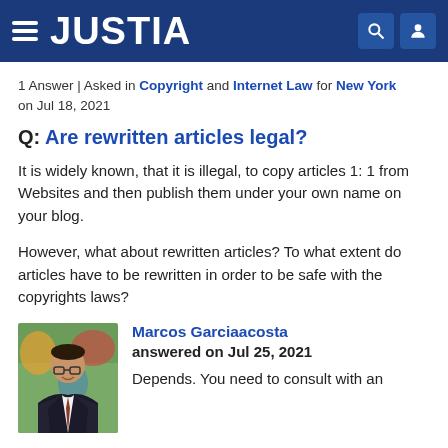JUSTIA
1 Answer | Asked in Copyright and Internet Law for New York on Jul 18, 2021
Q: Are rewritten articles legal?
It is widely known, that it is illegal, to copy articles 1: 1 from Websites and then publish them under your own name on your blog.
However, what about rewritten articles? To what extent do articles have to be rewritten in order to be safe with the copyrights laws?
[Figure (photo): Photo of attorney Marcos Garciaacosta, a man in glasses and dark suit, smiling, with colorful artwork in background]
Marcos Garciaacosta
answered on Jul 25, 2021
Depends. You need to consult with an